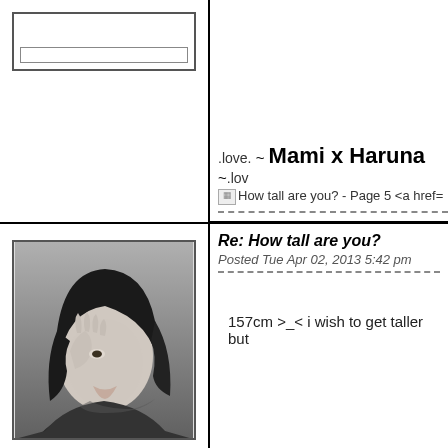[Figure (screenshot): Top-left: forum avatar box placeholder with border and inner bar]
.love. ~ Mami x Haruna ~.lov
[img]How tall are you? - Page 5 <a href=
[Figure (photo): Black and white photo of a woman with dark hair covering part of her face with her hand]
Re: How tall are you?
Posted Tue Apr 02, 2013 5:42 pm
157cm >_< i wish to get taller but